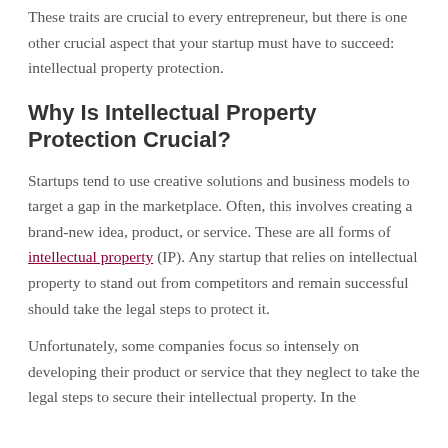These traits are crucial to every entrepreneur, but there is one other crucial aspect that your startup must have to succeed: intellectual property protection.
Why Is Intellectual Property Protection Crucial?
Startups tend to use creative solutions and business models to target a gap in the marketplace. Often, this involves creating a brand-new idea, product, or service. These are all forms of intellectual property (IP). Any startup that relies on intellectual property to stand out from competitors and remain successful should take the legal steps to protect it.
Unfortunately, some companies focus so intensely on developing their product or service that they neglect to take the legal steps to secure their intellectual property. In the